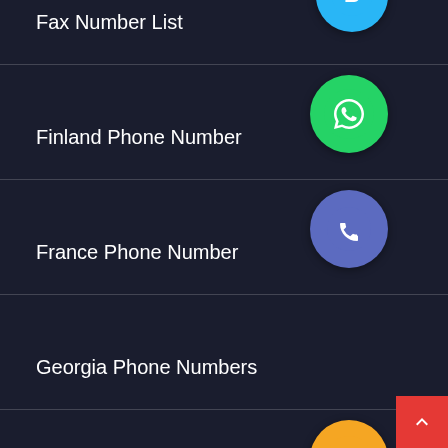Fax Number List
Finland Phone Number
France Phone Number
Georgia Phone Numbers
Germany Mobile Number
Ghana Phone Numbers
Ghost Mannequin Effect
Graphic Design
Greece Phone Number
Guatemala Phone Numbers